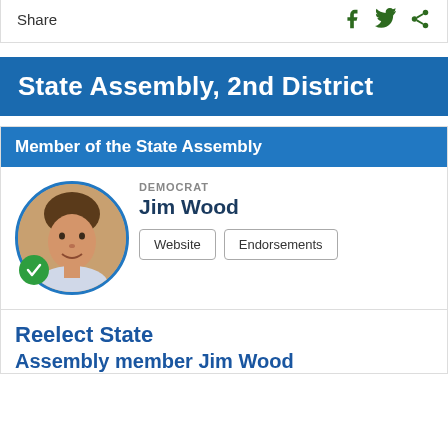Share
State Assembly, 2nd District
Member of the State Assembly
DEMOCRAT
Jim Wood
Website   Endorsements
Reelect State Assembly member Jim Wood